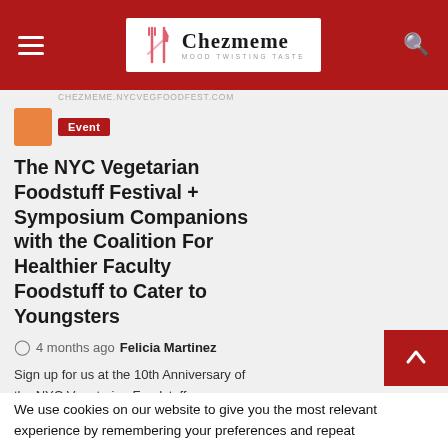Chezmeme - MOOD TWISTING TASTE
CHEZMEME.NYCVEGFOODFEST.COM
Event
The NYC Vegetarian Foodstuff Festival + Symposium Companions with the Coalition For Healthier Faculty Foodstuff to Cater to Youngsters
4 months ago  Felicia Martinez
Sign up for us at the 10th Anniversary of the NYC Vegetarian Foodstuff Competition + Symposium on May perhaps 21-22....
We use cookies on our website to give you the most relevant experience by remembering your preferences and repeat